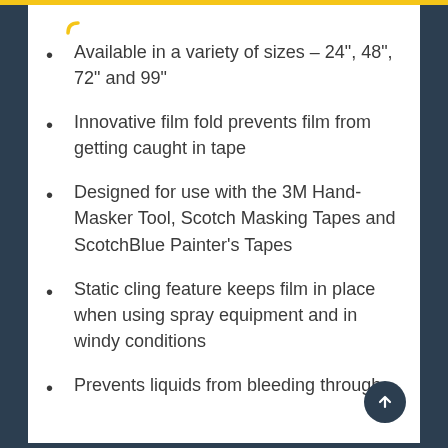Available in a variety of sizes - 24", 48", 72" and 99"
Innovative film fold prevents film from getting caught in tape
Designed for use with the 3M Hand-Masker Tool, Scotch Masking Tapes and ScotchBlue Painter's Tapes
Static cling feature keeps film in place when using spray equipment and in windy conditions
Prevents liquids from bleeding through